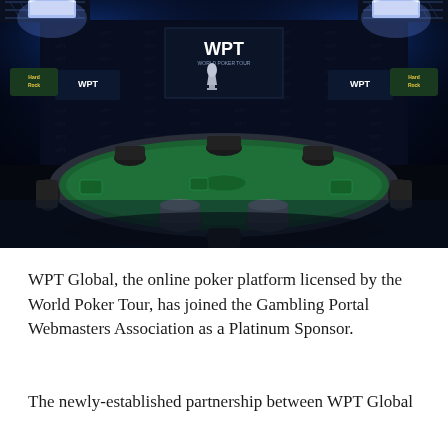[Figure (photo): A World Poker Tour (WPT) branded poker table set on a studio stage. The green felt poker table with silver/chrome base pedestal legs sits center stage surrounded by black chairs. Behind it is a large backdrop covered in WPT and Hard Rock logos. Bright studio lights on trussing illuminate the scene in blue tones. WPT and Hard Rock signage visible on left and right sides.]
WPT Global, the online poker platform licensed by the World Poker Tour, has joined the Gambling Portal Webmasters Association as a Platinum Sponsor.
The newly-established partnership between WPT Global